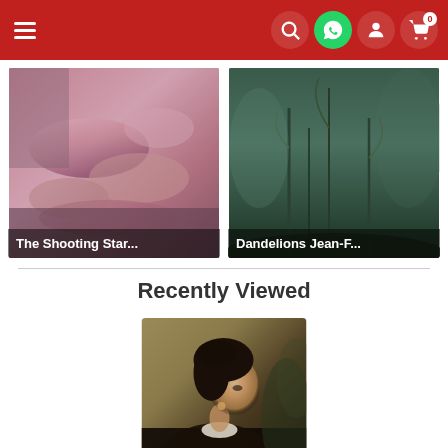Navigation bar with menu, search, WhatsApp, account, and cart (0) icons
[Figure (photo): Painting thumbnail: The Shooting Star (partial title shown as 'The Shooting Star...')]
The Shooting Star...
[Figure (photo): Painting thumbnail: Dandelions Jean-F... (partial title)]
Dandelions Jean-F...
Recently Viewed
[Figure (photo): Portrait of a woman in profile view, dark hair in updo, wearing dark clothing with white collar, labeled 'Portrait of Madam...']
Portrait of Madam...